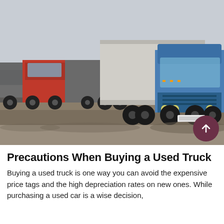[Figure (photo): Three large semi-trucks (one blue Freightliner with white trailer in foreground, two red trucks behind) parked on a dirt/gravel area with overcast sky and commercial buildings in background.]
Precautions When Buying a Used Truck
Buying a used truck is one way you can avoid the expensive price tags and the high depreciation rates on new ones. While purchasing a used car is a wise decision,